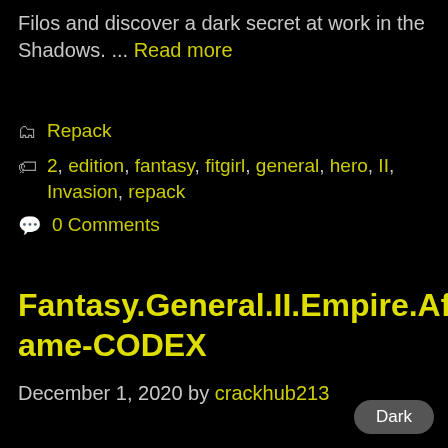Filos and discover a dark secret at work in the Shadows. ... Read more
Repack
2, edition, fantasy, fitgirl, general, hero, II, Invasion, repack
0 Comments
Fantasy.General.II.Empire.Aflame-CODEX
December 1, 2020 by crackhub213